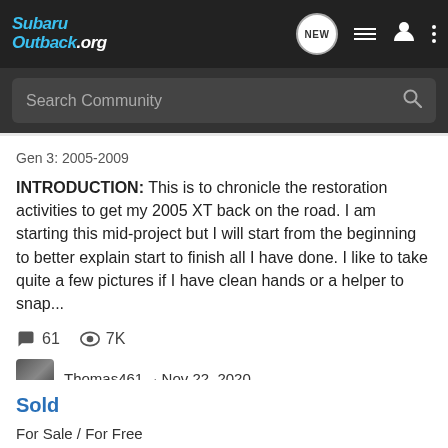[Figure (screenshot): SubaruOutback.org website navigation bar with logo, NEW button, list icon, user icon, and dots menu]
Search Community
Gen 3: 2005-2009
INTRODUCTION: This is to chronicle the restoration activities to get my 2005 XT back on the road. I am starting this mid-project but I will start from the beginning to better explain start to finish all I have done. I like to take quite a few pictures if I have clean hands or a helper to snap...
61  7K
Thomas461 · Nov 22, 2020
2005
pressure wash
restoration
xt
Sold
For Sale / For Free